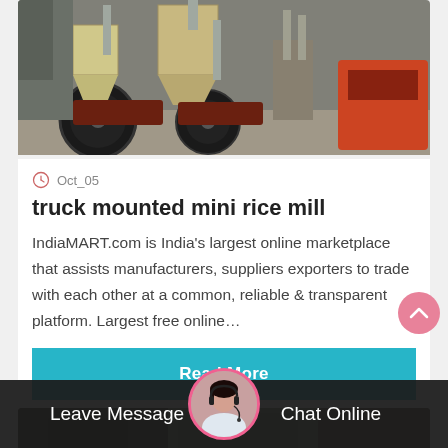[Figure (photo): Industrial rice mill machinery with conveyor belts, hoppers, and processing equipment in a factory setting.]
Oct_05
truck mounted mini rice mill
IndiaMART.com is India's largest online marketplace that assists manufacturers, suppliers exporters to trade with each other at a common, reliable & transparent platform. Largest free online…
Read More
[Figure (photo): Bottom of page showing another rice mill image partially visible.]
Leave Message
Chat Online